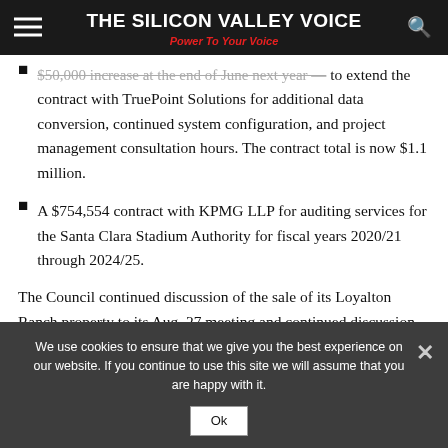THE SILICON VALLEY VOICE | Power To Your Voice
$50,000 increase at the end of June next year — to extend the contract with TruePoint Solutions for additional data conversion, continued system configuration, and project management consultation hours. The contract total is now $1.1 million.
A $754,554 contract with KPMG LLP for auditing services for the Santa Clara Stadium Authority for fiscal years 2020/21 through 2024/25.
The Council continued discussion of the sale of its Loyalton Ranch property to its Aug. 27 meeting and continued discussion
We use cookies to ensure that we give you the best experience on our website. If you continue to use this site we will assume that you are happy with it.